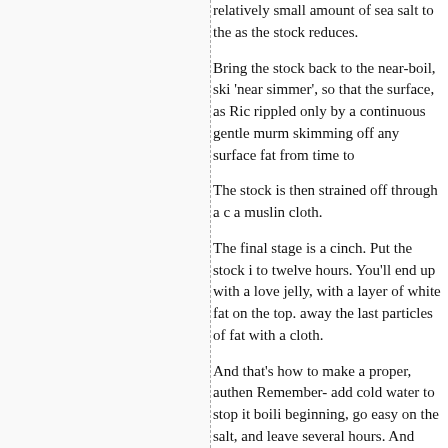relatively small amount of sea salt to the as the stock reduces.
Bring the stock back to the near-boil, ski 'near simmer', so that the surface, as Ric rippled only by a continuous gentle murm skimming off any surface fat from time to
The stock is then strained off through a c a muslin cloth.
The final stage is a cinch. Put the stock i to twelve hours. You'll end up with a love jelly, with a layer of white fat on the top. away the last particles of fat with a cloth.
And that's how to make a proper, authen Remember- add cold water to stop it boili beginning, go easy on the salt, and leave several hours. And before I forget, there' Robuchon, which funnily enough Olney d the stock to a near boil, place the pan to form to the side of the pan. Oh, and take interested I might cover making a brown another day.